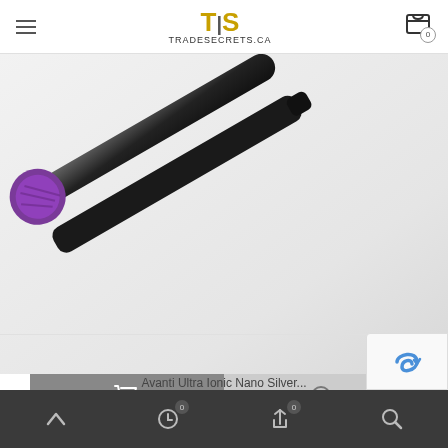TIS TRADESECRETS.CA
[Figure (photo): A black hair straightener/flat iron with a purple accented handle tip, shown diagonally on a light grey background]
[Figure (infographic): Two action buttons side by side: left button (dark grey) with a shopping cart icon, right button (light grey) with a cursor/info icon]
Avanti Ultra Ionic Nano Silver...
CAD $132.24
Bottom navigation bar with: up arrow, clock with badge 0, share/refresh icon with badge 0, search icon